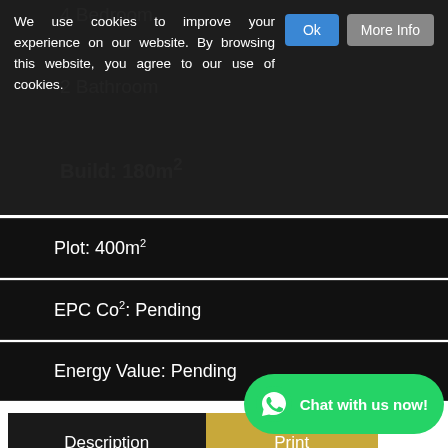We use cookies to improve your experience on our website. By browsing this website, you agree to our use of cookies.
Plot: 400m²
EPC Co²: Pending
Energy Value: Pending
Description
Print
4 bedroom Chalet in Albir. Chalet with sea views for sale in Albir. Very well built and spacious chalet for sale in perfect condition, with independence and privacy. Beautiful views of the sea and the mountains. Distributed on 2 floors, it...
Chat with us now!